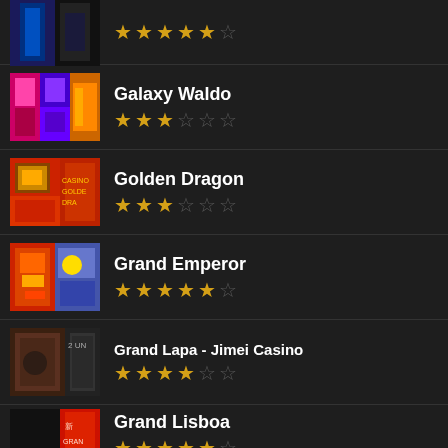(partial entry, top) ★★★★★☆
Galaxy Waldo ★★★☆☆☆
Golden Dragon ★★★☆☆☆
Grand Emperor ★★★★★☆
Grand Lapa - Jimei Casino ★★★★☆☆
Grand Lisboa ★★★★★☆ (partial)